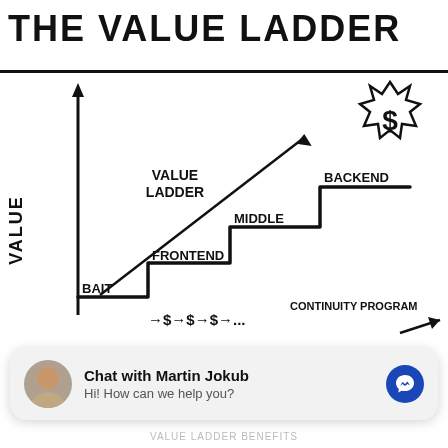THE VALUE LADDER
[Figure (infographic): A hand-drawn whiteboard diagram titled 'Value Ladder' showing a staircase chart with Y-axis labeled 'VALUE'. Steps are labeled from bottom to top: BAIT, FRONTEND, MIDDLE, BACKEND. A diagonal arrow points upward labeled 'VALUE LADDER'. A starburst shape with a dollar sign sits at the top right. At the bottom, an arrow sequence shows: BAIT → $ → $ → $ → … labeled 'CONTINUITY PROGRAM'.]
Chat with Martin Jokub
Hi! How can we help you?